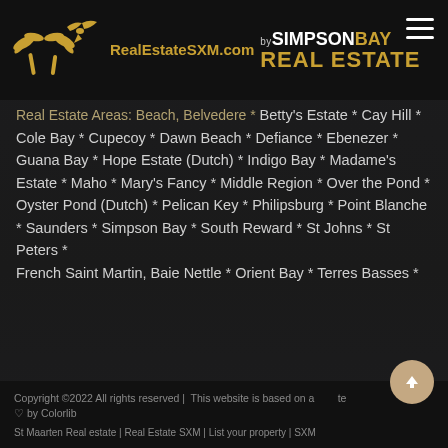RealEstateSXM.com | by Simpson Bay Real Estate
Real Estate Areas: Beach, Belvedere * Betty's Estate * Cay Hill * Cole Bay * Cupecoy * Dawn Beach * Defiance * Ebenezer * Guana Bay * Hope Estate (Dutch) * Indigo Bay * Madame's Estate * Maho * Mary's Fancy * Middle Region * Over the Pond * Oyster Pond (Dutch) * Pelican Key * Philipsburg * Point Blanche * Saunders * Simpson Bay * South Reward * St Johns * St Peters * French Saint Martin, Baie Nettle * Orient Bay * Terres Basses *
Copyright ©2022 All rights reserved | This website is based on a template ♡ by Colorlib
St Maarten Real estate | Real Estate SXM | List your property | SXM